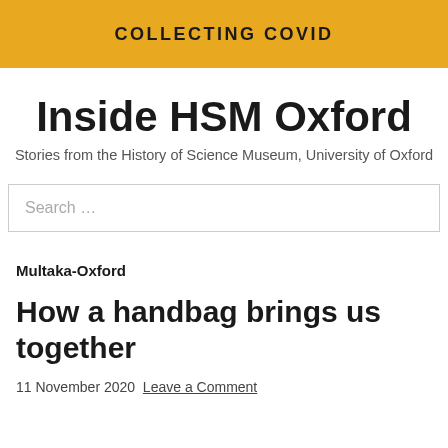COLLECTING COVID
Inside HSM Oxford
Stories from the History of Science Museum, University of Oxford
Search ...
Multaka-Oxford
How a handbag brings us together
11 November 2020  Leave a Comment